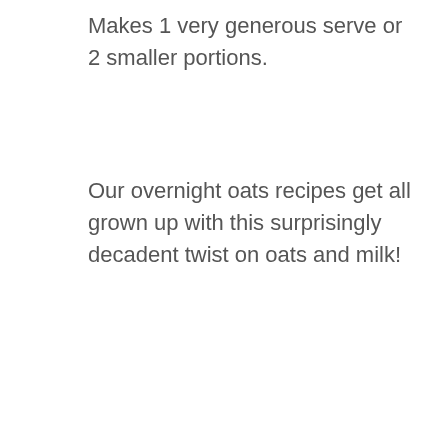Makes 1 very generous serve or 2 smaller portions.
Our overnight oats recipes get all grown up with this surprisingly decadent twist on oats and milk!